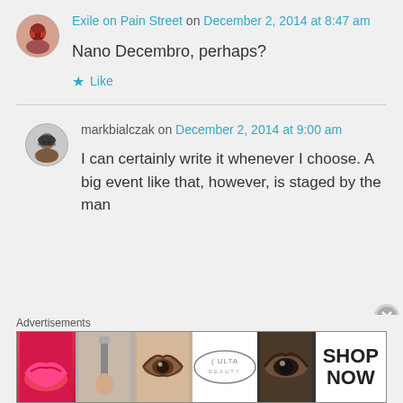Exile on Pain Street on December 2, 2014 at 8:47 am
Nano Decembro, perhaps?
Like
markbialczak on December 2, 2014 at 9:00 am
I can certainly write it whenever I choose. A big event like that, however, is staged by the man
Advertisements